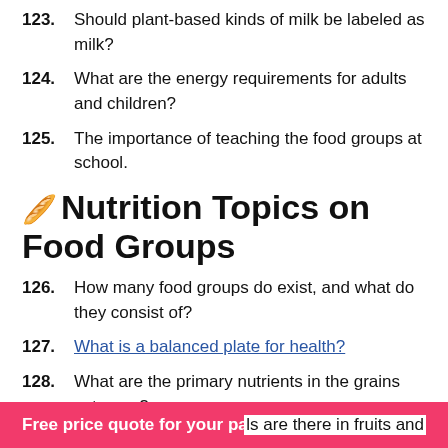123. Should plant-based kinds of milk be labeled as milk?
124. What are the energy requirements for adults and children?
125. The importance of teaching the food groups at school.
🥖 Nutrition Topics on Food Groups
126. How many food groups do exist, and what do they consist of?
127. What is a balanced plate for health?
128. What are the primary nutrients in the grains category?
Free price quote for your paper       ls are there in fruits and